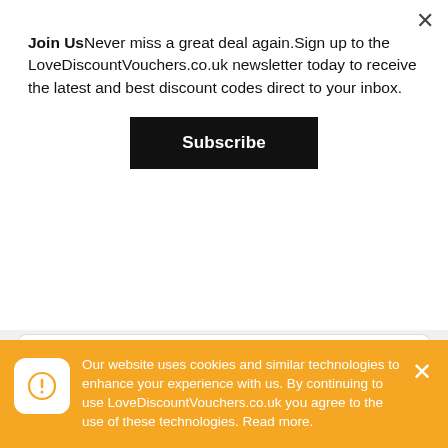Join UsNever miss a great deal again.Sign up to the LoveDiscountVouchers.co.uk newsletter today to receive the latest and best discount codes direct to your inbox.
Subscribe
https://www.loveyourself.co.uk
About Love Yourself Meals
Love Yourself Meals is the perfect destination for all those who are in search of the perfect diet as well as foods which are sure to bring
Our website uses cookies and similar technologies to enhance your experience with us. By continuing to use LoveDiscountVouchers.co.uk you agree to the use of these technologies. Read more.